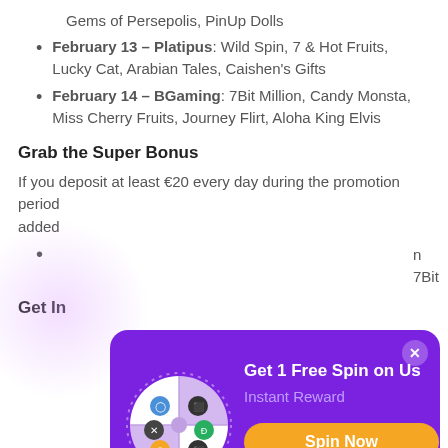Gems of Persepolis, PinUp Dolls
February 13 – Platipus: Wild Spin, 7 & Hot Fruits, Lucky Cat, Arabian Tales, Caishen's Gifts
February 14 – BGaming: 7Bit Million, Candy Monsta, Miss Cherry Fruits, Journey Flirt, Aloha King Elvis
Grab the Super Bonus
If you deposit at least €20 every day during the promotion period... Super Bonus... will be added...
...n 7Bit
Get In...
[Figure (infographic): Popup modal with purple background showing a spin wheel with colorful segments and icons, title 'Get 1 Free Spin on Us', subtitle 'Instant Reward', and an orange 'Spin Now' button. A close (X) button is in the top-right corner.]